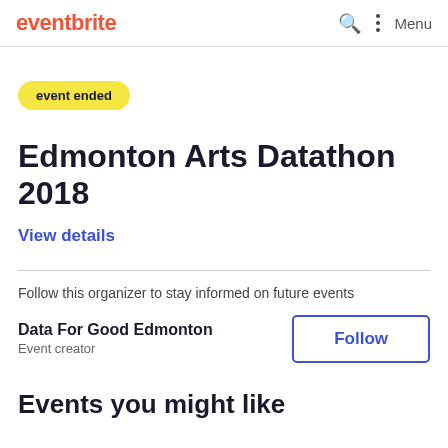eventbrite
event ended
Edmonton Arts Datathon 2018
View details
Follow this organizer to stay informed on future events
Data For Good Edmonton
Event creator
Follow
Events you might like